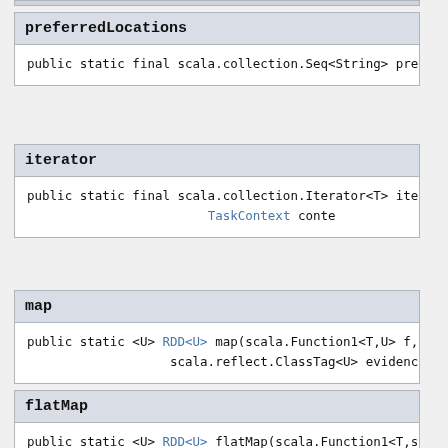preferredLocations
public static final scala.collection.Seq<String> pref
iterator
public static final scala.collection.Iterator<T> iter
                                        TaskContext conte
map
public static <U> RDD<U> map(scala.Function1<T,U> f,
                   scala.reflect.ClassTag<U> evidence$3)
flatMap
public static <U> RDD<U> flatMap(scala.Function1<T,sc
                        scala.reflect.ClassTag<U> evidence$4